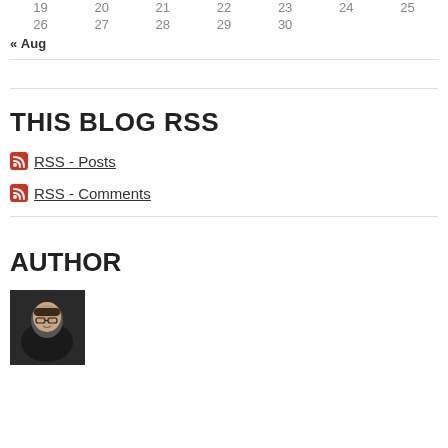| 19 | 20 | 21 | 22 | 23 | 24 | 25 |
| 26 | 27 | 28 | 29 | 30 |  |  |
« Aug
THIS BLOG RSS
RSS - Posts
RSS - Comments
AUTHOR
[Figure (photo): Author headshot: a man with glasses, dark hair, dark jacket, against a dark background]